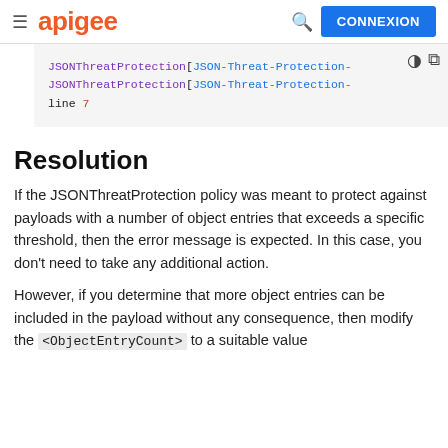apigee  CONNEXION
[Figure (screenshot): Code block showing JSONThreatProtection error lines with purple and blue monospace text on grey background, with dark mode and copy icons in top right]
Resolution
If the JSONThreatProtection policy was meant to protect against payloads with a number of object entries that exceeds a specific threshold, then the error message is expected. In this case, you don't need to take any additional action.
However, if you determine that more object entries can be included in the payload without any consequence, then modify the <ObjectEntryCount> to a suitable value